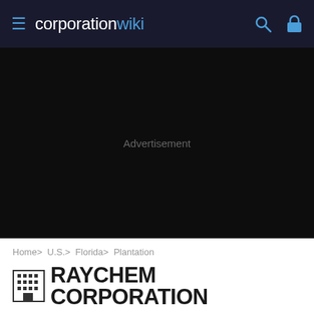corporation wiki
[Figure (screenshot): Black advertisement placeholder area with 'Advertisement' text in gray]
Home> U.S.> Florida> Plantation
RAYCHEM CORPORATION
Active
Plantation, FL